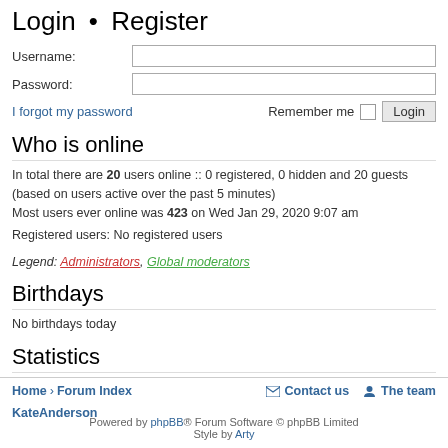Login • Register
Username:
Password:
I forgot my password    Remember me  [checkbox]  Login
Who is online
In total there are 20 users online :: 0 registered, 0 hidden and 20 guests (based on users active over the past 5 minutes)
Most users ever online was 423 on Wed Jan 29, 2020 9:07 am
Registered users: No registered users
Legend: Administrators, Global moderators
Birthdays
No birthdays today
Statistics
Total posts 2711 • Total topics 1081 • Total members 115 • Our newest member KateAnderson
Home › Forum Index    Contact us    The team
Powered by phpBB® Forum Software © phpBB Limited  Style by Arty